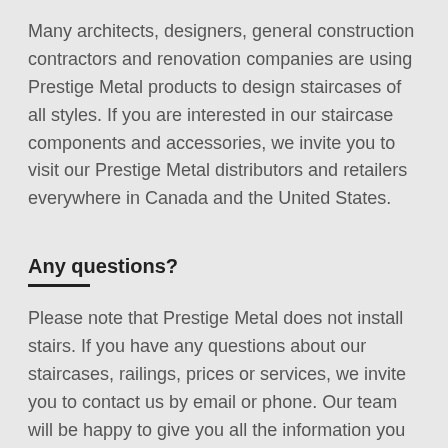Many architects, designers, general construction contractors and renovation companies are using Prestige Metal products to design staircases of all styles. If you are interested in our staircase components and accessories, we invite you to visit our Prestige Metal distributors and retailers everywhere in Canada and the United States.
Any questions?
Please note that Prestige Metal does not install stairs. If you have any questions about our staircases, railings, prices or services, we invite you to contact us by email or phone. Our team will be happy to give you all the information you need.